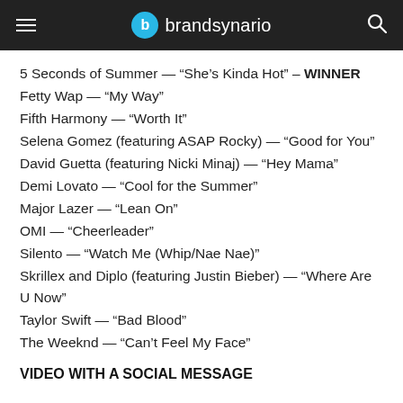brandsynario
5 Seconds of Summer — “She’s Kinda Hot” – WINNER
Fetty Wap — “My Way”
Fifth Harmony — “Worth It”
Selena Gomez (featuring ASAP Rocky) — “Good for You”
David Guetta (featuring Nicki Minaj) — “Hey Mama”
Demi Lovato — “Cool for the Summer”
Major Lazer — “Lean On”
OMI — “Cheerleader”
Silento — “Watch Me (Whip/Nae Nae)”
Skrillex and Diplo (featuring Justin Bieber) — “Where Are U Now”
Taylor Swift — “Bad Blood”
The Weeknd — “Can’t Feel My Face”
VIDEO WITH A SOCIAL MESSAGE